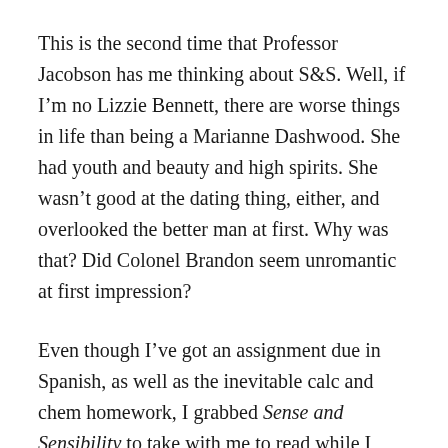This is the second time that Professor Jacobson has me thinking about S&S. Well, if I'm no Lizzie Bennett, there are worse things in life than being a Marianne Dashwood. She had youth and beauty and high spirits. She wasn't good at the dating thing, either, and overlooked the better man at first. Why was that? Did Colonel Brandon seem unromantic at first impression?
Even though I've got an assignment due in Spanish, as well as the inevitable calc and chem homework, I grabbed Sense and Sensibility to take with me to read while I went to dinner. I wanted to read everything in the book about Colonel Brandon.
Anne spotted me in the dining hall while I was halfway